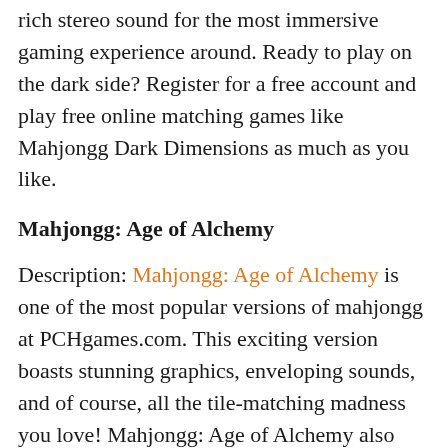rich stereo sound for the most immersive gaming experience around. Ready to play on the dark side? Register for a free account and play free online matching games like Mahjongg Dark Dimensions as much as you like.
Mahjongg: Age of Alchemy
Description: Mahjongg: Age of Alchemy is one of the most popular versions of mahjongg at PCHgames.com. This exciting version boasts stunning graphics, enveloping sounds, and of course, all the tile-matching madness you love! Mahjongg: Age of Alchemy also adds a new challenging twist. You have to match two of a kind to eliminate all the tiles before the time runs out. Think you can do it?